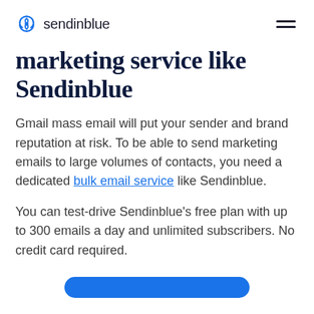sendinblue
marketing service like Sendinblue
Gmail mass email will put your sender and brand reputation at risk. To be able to send marketing emails to large volumes of contacts, you need a dedicated bulk email service like Sendinblue.
You can test-drive Sendinblue's free plan with up to 300 emails a day and unlimited subscribers. No credit card required.
[Figure (other): Blue rounded CTA button partially visible at the bottom of the page]